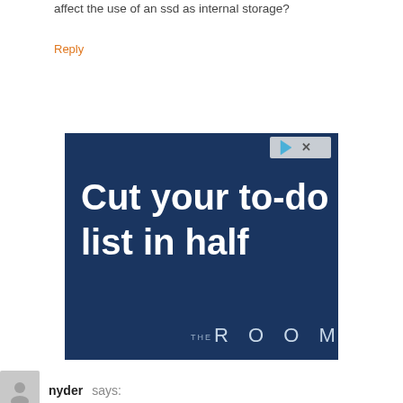affect the use of an ssd as internal storage?
Reply
[Figure (screenshot): Advertisement banner with dark navy blue background. Large white bold text reads 'Cut your to-do list in half'. Bottom right shows 'THE ROOM' branding in spaced capital letters. Top right corner has small play/close icons.]
nyder says: